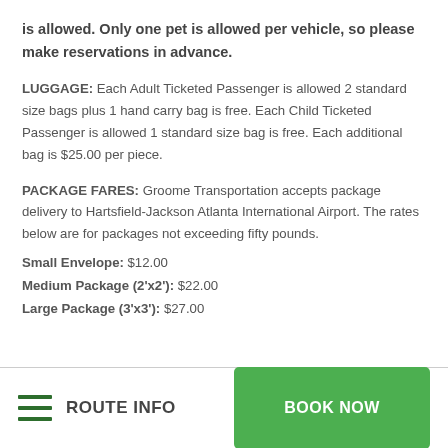is allowed. Only one pet is allowed per vehicle, so please make reservations in advance.
LUGGAGE: Each Adult Ticketed Passenger is allowed 2 standard size bags plus 1 hand carry bag is free. Each Child Ticketed Passenger is allowed 1 standard size bag is free. Each additional bag is $25.00 per piece.
PACKAGE FARES: Groome Transportation accepts package delivery to Hartsfield-Jackson Atlanta International Airport. The rates below are for packages not exceeding fifty pounds.
Small Envelope: $12.00
Medium Package (2'x2'): $22.00
Large Package (3'x3'): $27.00
ROUTE INFO  BOOK NOW